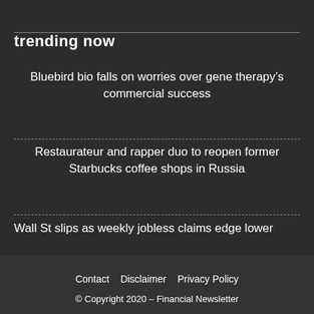trending now
Bluebird bio falls on worries over gene therapy’s commercial success
Restaurateur and rapper duo to reopen former Starbucks coffee shops in Russia
Wall St slips as weekly jobless claims edge lower
Contact   Disclaimer   Privacy Policy
© Copyright 2020 – Financial Newsletter